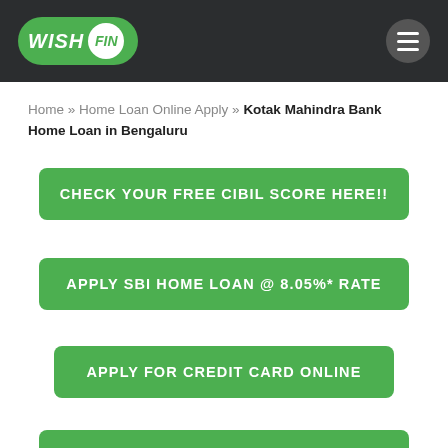[Figure (logo): WishFin logo on dark header bar with hamburger menu icon]
Home » Home Loan Online Apply » Kotak Mahindra Bank Home Loan in Bengaluru
CHECK YOUR FREE CIBIL SCORE HERE!!
APPLY SBI HOME LOAN @ 8.05%* RATE
APPLY FOR CREDIT CARD ONLINE
GET PERSONAL LOAN @ 10.75* RATE